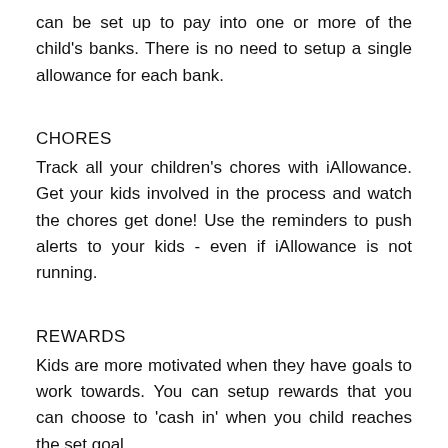can be set up to pay into one or more of the child's banks. There is no need to setup a single allowance for each bank.
CHORES
Track all your children's chores with iAllowance. Get your kids involved in the process and watch the chores get done! Use the reminders to push alerts to your kids - even if iAllowance is not running.
REWARDS
Kids are more motivated when they have goals to work towards. You can setup rewards that you can choose to 'cash in' when you child reaches the set goal.
PARENTAL CONTROLS